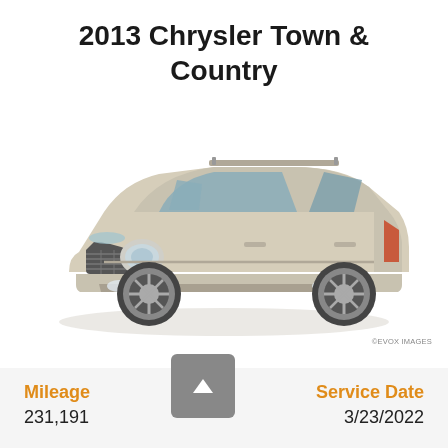2013 Chrysler Town & Country
[Figure (photo): Stock photo of a silver/champagne 2013 Chrysler Town & Country minivan, three-quarter front view on white background. EVOX IMAGES watermark.]
©EVOX IMAGES
Mileage
231,191
Service Date
3/23/2022